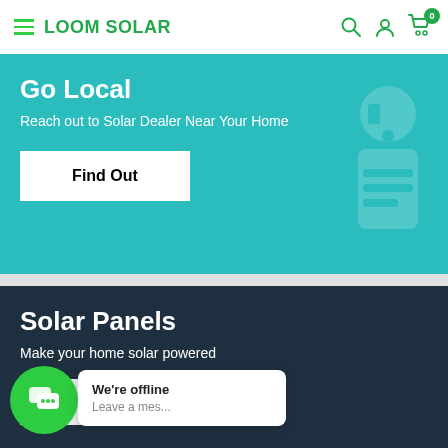LOOM SOLAR
Go Local
Reach out to Solar Dealer Near Your Home
Find Out
Solar Panels
Make your home solar powered
We're offline
Leave a mes...